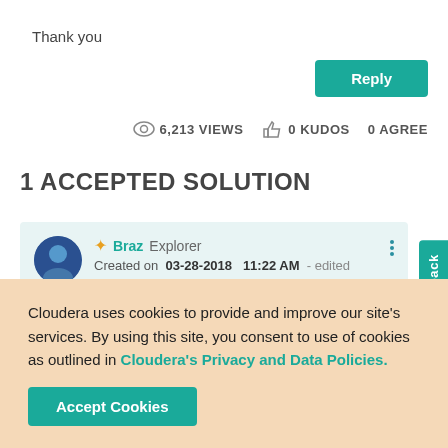Thank you
Reply
6,213 VIEWS   0 KUDOS   0 AGREE
1 ACCEPTED SOLUTION
Braz   Explorer
Created on   03-28-2018   11:22 AM   - edited
All I'm seeing are messages like the following when
Feedback
Cloudera uses cookies to provide and improve our site's services. By using this site, you consent to use of cookies as outlined in Cloudera's Privacy and Data Policies.
Accept Cookies